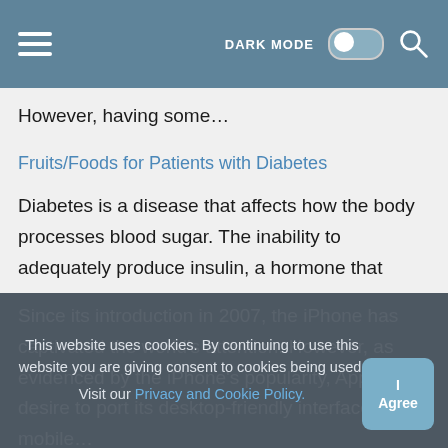DARK MODE [toggle] [search]
However, having some…
Fruits/Foods for Patients with Diabetes
Diabetes is a disease that affects how the body processes blood sugar. The inability to adequately produce insulin, a hormone that carries glucose from food to the body's cells…
The Pros and Cons of iPhone in 2022
Since its introduction in 2007, the iPhone has captivated the world's attention. However, as evidenced by the iPhone's popularity, Apple desired to port its desktop-friendly interface to a mobile…
This website uses cookies. By continuing to use this website you are giving consent to cookies being used. Visit our Privacy and Cookie Policy.